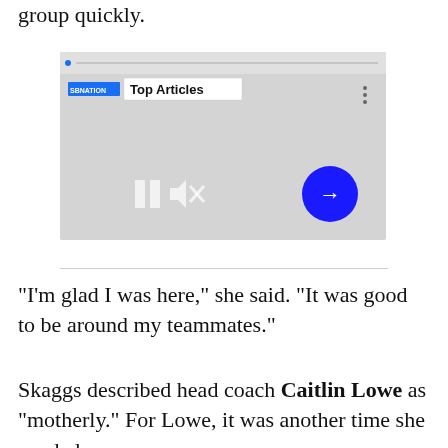group quickly.
[Figure (screenshot): Embedded video player UI showing 'SB Nation Top Articles' with pause button, mute button, and a blue arrow/next button on a gray background.]
“I’m glad I was here,” she said. “It was good to be around my teammates.”
Skaggs described head coach Caitlin Lowe as “motherly.” For Lowe, it was another time she needed